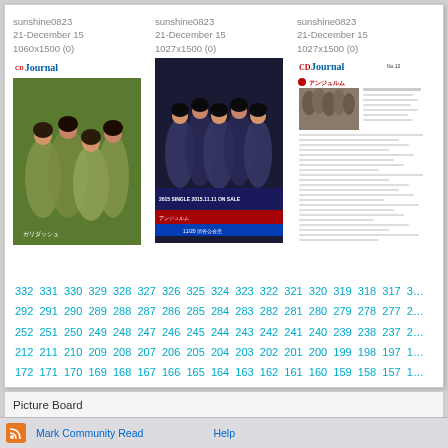[Figure (screenshot): Three image thumbnails with metadata: sunshine0823, 21-December 15. First: 1060x1500 (0) CD Journal magazine cover with girls in gold outfits. Second: 1027x1500 (0) poster with girls in dark blue outfits, text '2015 SINGLE 2015.11.11 ON SALE'. Third: 1027x1500 (0) CD Journal inner page.]
332 331 330 329 328 327 326 325 324 323 322 321 320 319 318 317 3... 292 291 290 289 288 287 286 285 284 283 282 281 280 279 278 277 2... 252 251 250 249 248 247 246 245 244 243 242 241 240 239 238 237 2... 212 211 210 209 208 207 206 205 204 203 202 201 200 199 198 197 1... 172 171 170 169 168 167 166 165 164 163 162 161 160 159 158 157 1... 132 131 130 129 128 127 126 125 124 123 122 121 120 119 118 117 1... 90 89 88 87 86 85 84 83 82 81 80 79 78 77 76 75 74 73 72 71 70 69... 37 36 35 34 33 32 31 30 29 28 27 26 ...
Picture Board
Mark Community Read
Help